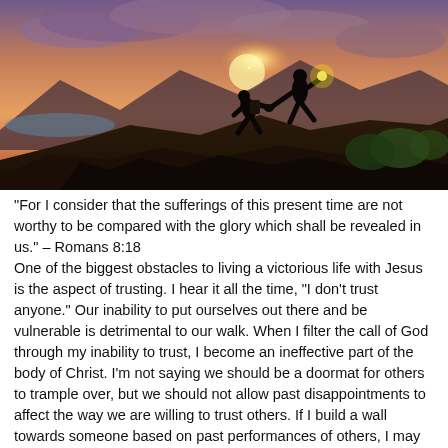[Figure (photo): Two silhouetted figures on a rocky hilltop at sunset. One person at the top reaches down to help pull up another climber. Dramatic orange and purple sky with clouds and mountains in the background.]
"For I consider that the sufferings of this present time are not worthy to be compared with the glory which shall be revealed in us." – Romans 8:18
One of the biggest obstacles to living a victorious life with Jesus is the aspect of trusting. I hear it all the time, "I don't trust anyone." Our inability to put ourselves out there and be vulnerable is detrimental to our walk. When I filter the call of God through my inability to trust, I become an ineffective part of the body of Christ. I'm not saying we should be a doormat for others to trample over, but we should not allow past disappointments to affect the way we are willing to trust others. If I build a wall towards someone based on past performances of others, I may have limited what God wants to do for someone else and myself.
When I'm wrestling with the idea of putting myself out there for